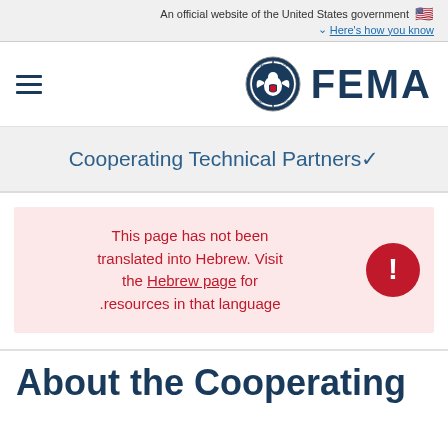An official website of the United States government 🇺🇸
Here's how you know
[Figure (logo): FEMA logo with DHS seal and hamburger menu icon]
Cooperating Technical Partners
This page has not been translated into Hebrew. Visit the Hebrew page for resources in that language.
About the Cooperating